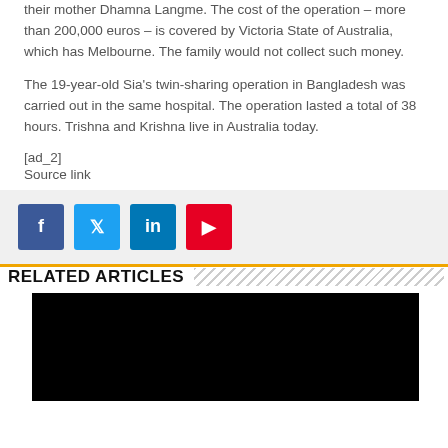their mother Dhamna Langme. The cost of the operation – more than 200,000 euros – is covered by Victoria State of Australia, which has Melbourne. The family would not collect such money.
The 19-year-old Sia's twin-sharing operation in Bangladesh was carried out in the same hospital. The operation lasted a total of 38 hours. Trishna and Krishna live in Australia today.
[ad_2]
Source link
[Figure (infographic): Social sharing buttons: Facebook (blue), Twitter (light blue), LinkedIn (teal-blue), Pinterest (red)]
RELATED ARTICLES
[Figure (photo): Black rectangle placeholder image for related article]